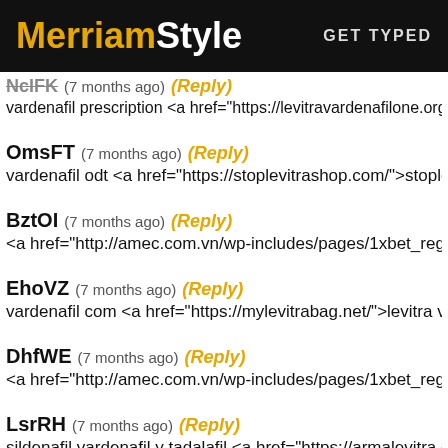MerriamStyle — GET TYPED
NcIFK  (7 months ago)  (Reply)
vardenafil prescription <a href="https://levitravardenafilone.org/
OmsFT  (7 months ago)  (Reply)
vardenafil odt <a href="https://stoplevitrashop.com/">stoplevitra
BztOI  (7 months ago)  (Reply)
<a href="http://amec.com.vn/wp-includes/pages/1xbet_registra
EhoVZ  (7 months ago)  (Reply)
vardenafil com <a href="https://mylevitrabag.net/">levitra vs cia
DhfWE  (7 months ago)  (Reply)
<a href="http://amec.com.vn/wp-includes/pages/1xbet_registra
LsrRH  (7 months ago)  (Reply)
sildenafil vardenafil y tadalafil <a href="https://armalevitra.com/